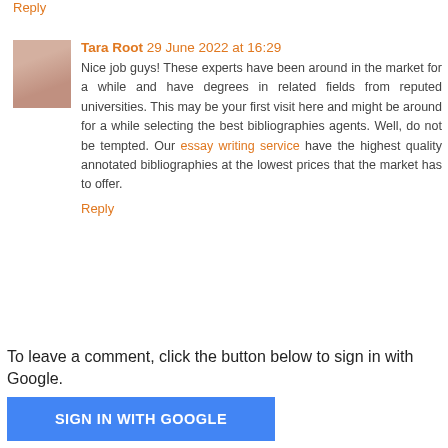Reply
Tara Root 29 June 2022 at 16:29
Nice job guys! These experts have been around in the market for a while and have degrees in related fields from reputed universities. This may be your first visit here and might be around for a while selecting the best bibliographies agents. Well, do not be tempted. Our essay writing service have the highest quality annotated bibliographies at the lowest prices that the market has to offer.
Reply
To leave a comment, click the button below to sign in with Google.
SIGN IN WITH GOOGLE